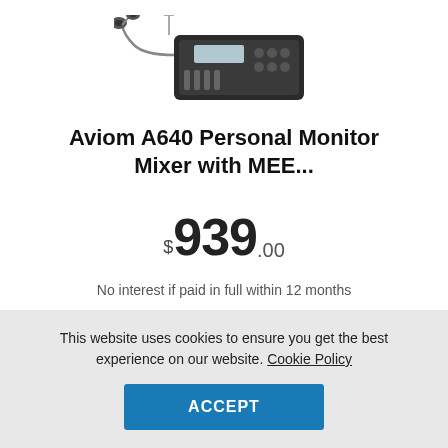[Figure (photo): Aviom A640 Personal Monitor Mixer with MEE audio earphones — product photo showing mixing console with earphones attached]
Aviom A640 Personal Monitor Mixer with MEE...
$939.00
No interest if paid in full within 12 months
ADD TO CART
This website uses cookies to ensure you get the best experience on our website. Cookie Policy
ACCEPT